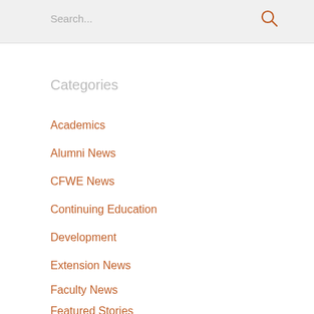Search...
Categories
Academics
Alumni News
CFWE News
Continuing Education
Development
Extension News
Faculty News
Featured Stories